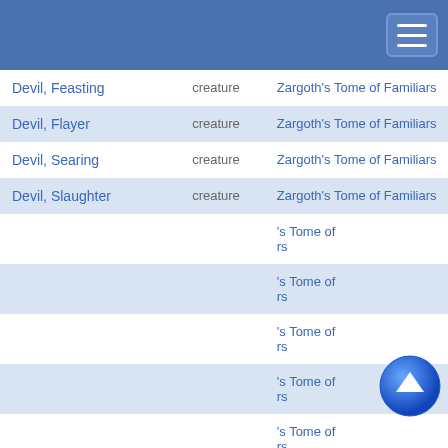Navigation bar with hamburger menu
| Name | Type | Source |
| --- | --- | --- |
| Devil, Feasting | creature | Zargoth's Tome of Familiars |
| Devil, Flayer | creature | Zargoth's Tome of Familiars |
| Devil, Searing | creature | Zargoth's Tome of Familiars |
| Devil, Slaughter | creature | Zargoth's Tome of Familiars |
| [partially hidden] | creature | Zargoth's Tome of Familiars |
| [partially hidden] | creature | Zargoth's Tome of Familiars |
| [partially hidden] | creature | Zargoth's Tome of Familiars |
| [partially hidden] | creature | Zargoth's Tome of Familiars |
| [partially hidden] | creature | Zargoth's Tome of Familiars |
| Dryad's Hair | creature | Zargoth's Tome of Familiars |
This website uses cookies to provide functionality, but which are not used to track your activity. By continuing to use this site, you agree to the use of these cookies.

However, in addition to this, you may opt into your activity being tracked in order to help us improve our service.

For more information, please click here
OK | No, thank you